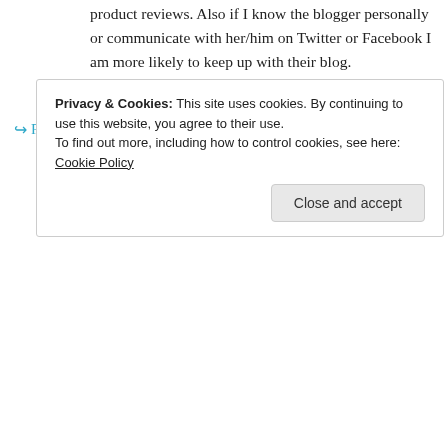product reviews. Also if I know the blogger personally or communicate with her/him on Twitter or Facebook I am more likely to keep up with their blog.
★ Like
↪ Reply
[Figure (other): WordPress advertisement banner with gradient blue-yellow background, text 'Create immersive stories.' on left, 'GET THE APP' with WordPress logo on right. 'REPORT THIS AD' text at bottom right.]
Privacy & Cookies: This site uses cookies. By continuing to use this website, you agree to their use. To find out more, including how to control cookies, see here: Cookie Policy
Close and accept